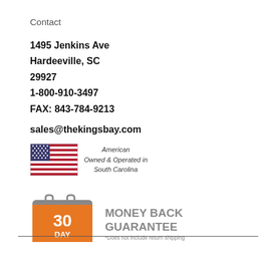Contact
1495 Jenkins Ave
Hardeeville, SC
29927
1-800-910-3497
FAX: 843-784-9213
sales@thekingsbay.com
[Figure (infographic): American flag icon with text: American Owned & Operated in South Carolina]
[Figure (infographic): 30 Day Money Back Guarantee badge with text: *Does not include return shipping]